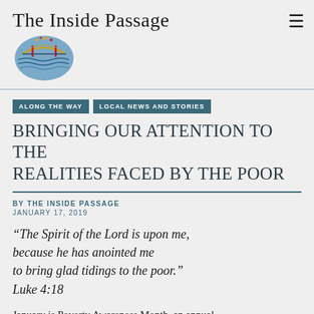The Inside Passage
[Figure (logo): The Inside Passage logo: a blue/yellow/red mosaic-style crest depicting a bridge and waves]
ALONG THE WAY
LOCAL NEWS AND STORIES
Bringing our attention to the realities faced by the poor
BY THE INSIDE PASSAGE
JANUARY 17, 2019
“The Spirit of the Lord is upon me, because he has anointed me to bring glad tidings to the poor.” Luke 4:18
January is Poverty Awareness Month, an annual